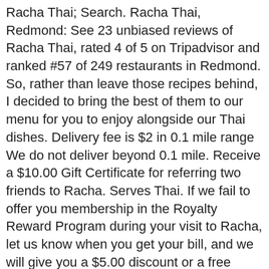Racha Thai; Search. Racha Thai, Redmond: See 23 unbiased reviews of Racha Thai, rated 4 of 5 on Tripadvisor and ranked #57 of 249 restaurants in Redmond. So, rather than leave those recipes behind, I decided to bring the best of them to our menu for you to enjoy alongside our Thai dishes. Delivery fee is $2 in 0.1 mile range We do not deliver beyond 0.1 mile. Receive a $10.00 Gift Certificate for referring two friends to Racha. Serves Thai. If we fail to offer you membership in the Royalty Reward Program during your visit to Racha, let us know when you get your bill, and we will give you a $5.00 discount or a free dessert. 1-Bad2-Poor3-Ok4-Good5-Great. Tofu & clear noodles with shredded carrot & onion, cabbage, shiitake mushrooms, & cilantro in a clear broth. Racha Thai: Excellent Experience - See 23 traveler reviews, 12 candid photos, and great deals for Redmond, WA, at Tripadvisor. Open toolbar. originated in Muslim cuisine, has medium spicy flavor. All info on Racha Thai in Redmond - Call to book a table. On my journey I discovered lots of great local food. I talked to many people and asked them for the best and most